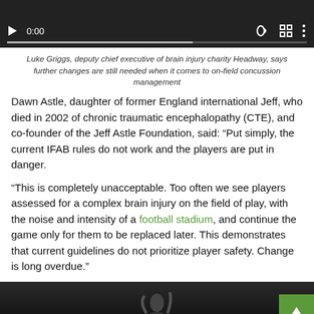[Figure (screenshot): Video player with dark background showing playback controls: play button, timestamp '0:00', volume icon, fullscreen icon, and options icon, with a progress bar below]
Luke Griggs, deputy chief executive of brain injury charity Headway, says further changes are still needed when it comes to on-field concussion management
Dawn Astle, daughter of former England international Jeff, who died in 2002 of chronic traumatic encephalopathy (CTE), and co-founder of the Jeff Astle Foundation, said: “Put simply, the current IFAB rules do not work and the players are put in danger.
“This is completely unacceptable. Too often we see players assessed for a complex brain injury on the field of play, with the noise and intensity of a football stadium, and continue the game only for them to be replaced later. This demonstrates that current guidelines do not prioritize player safety. Change is long overdue.”
[Figure (photo): Black and white photograph of a person with arm raised, partially visible at bottom of page]